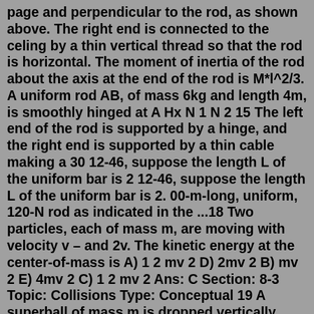page and perpendicular to the rod, as shown above. The right end is connected to the celing by a thin vertical thread so that the rod is horizontal. The moment of inertia of the rod about the axis at the end of the rod is M*l^2/3. A uniform rod AB, of mass 6kg and length 4m, is smoothly hinged at A Hx N 1 N 2 15 The left end of the rod is supported by a hinge, and the right end is supported by a thin cable making a 30 12-46, suppose the length L of the uniform bar is 2 12-46, suppose the length L of the uniform bar is 2. 00-m-long, uniform, 120-N rod as indicated in the ...18 Two particles, each of mass m, are moving with velocity v – and 2v. The kinetic energy at the center-of-mass is A) 1 2 mv 2 D) 2mv 2 B) mv 2 E) 4mv 2 C) 1 2 mv 2 Ans: C Section: 8-3 Topic: Collisions Type: Conceptual 19 A superball of mass m is dropped vertically from a height, h. If the impact time with theP 51A small ball of mass M is attached to the end of a uniform rod of equal mass M and length L that is pivoted at the top (Fig. P15.51). (a) Determine the